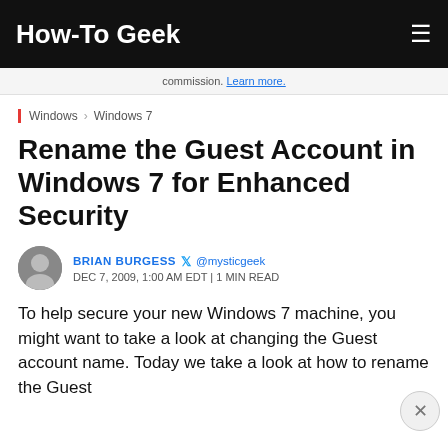How-To Geek
commission. Learn more.
Windows › Windows 7
Rename the Guest Account in Windows 7 for Enhanced Security
BRIAN BURGESS @mysticgeek DEC 7, 2009, 1:00 AM EDT | 1 MIN READ
To help secure your new Windows 7 machine, you might want to take a look at changing the Guest account name. Today we take a look at how to rename the Guest